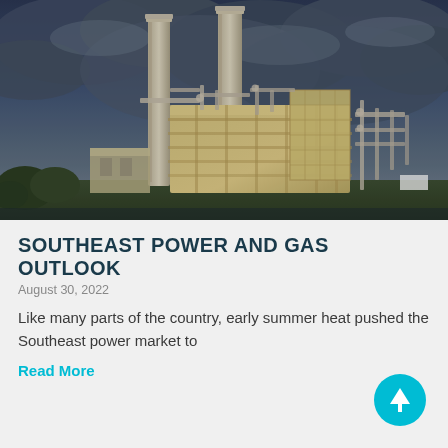[Figure (photo): Industrial power plant with two tall smokestacks against a dramatic dark cloudy sky, with complex pipe and structural framework visible below. Photograph taken at dusk or overcast daylight.]
SOUTHEAST POWER AND GAS OUTLOOK
August 30, 2022
Like many parts of the country, early summer heat pushed the Southeast power market to
Read More